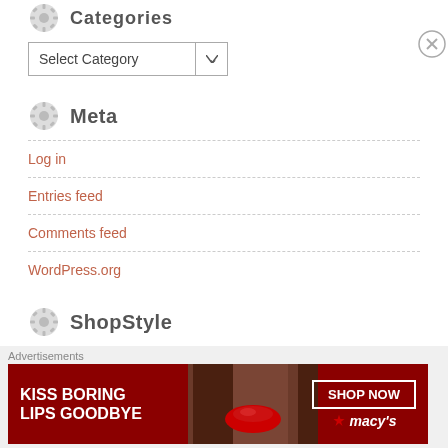Categories
[Figure (screenshot): Select Category dropdown box]
Meta
Log in
Entries feed
Comments feed
WordPress.org
ShopStyle
[Figure (photo): Macy's advertisement banner: KISS BORING LIPS GOODBYE with SHOP NOW button and Macy's star logo, woman's face with red lips]
Advertisements